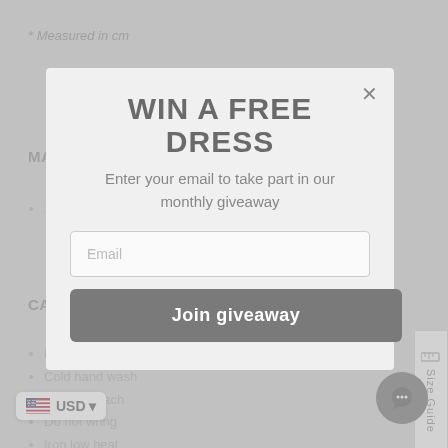* Measured in cm
MATERIAL
100% rayon crepe
CARE INSTRUCTIONS
Designed to be worn with love and care
Cold hand wash
Do not bleach
Do not wring
Iron low heat
Lay flat to dry
Dry in shade
[Figure (screenshot): Modal popup overlay with title WIN A FREE DRESS, subtitle Enter your email to take part in our monthly giveaway, an email input field, and a Join giveaway button. Background shows a product page with Material and Care Instructions sections.]
WIN A FREE DRESS
Enter your email to take part in our monthly giveaway
Email
Join giveaway
USD